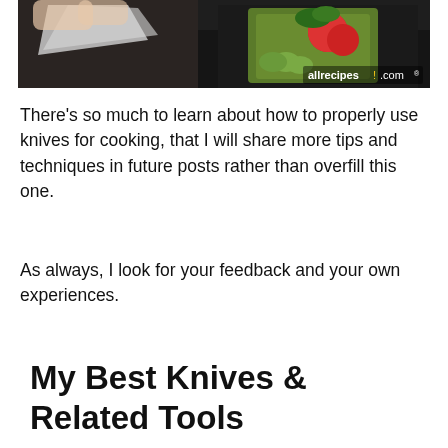[Figure (photo): A kitchen scene showing hands wrapping something in foil on a dark countertop, next to a green square plate with sliced tomatoes, zucchini, and parsley. The allrecipes.com logo is visible in the lower right of the image.]
There’s so much to learn about how to properly use knives for cooking, that I will share more tips and techniques in future posts rather than overfill this one.
As always, I look for your feedback and your own experiences.
My Best Knives & Related Tools